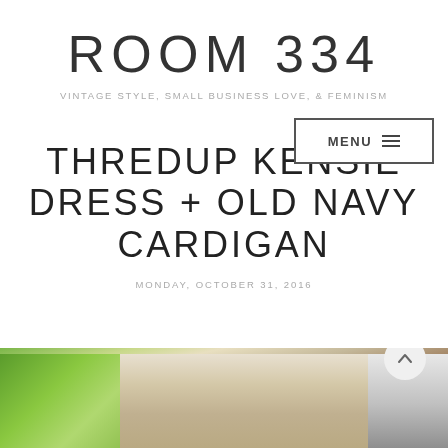ROOM 334
VINTAGE STYLE, SMALL BUSINESS LOVE, & FEMINISM
THREDUP KENSIE DRESS + OLD NAVY CARDIGAN
MONDAY, OCTOBER 31, 2016
[Figure (screenshot): Bottom portion showing a photo of outdoor scene with green plants, brick wall, and door]